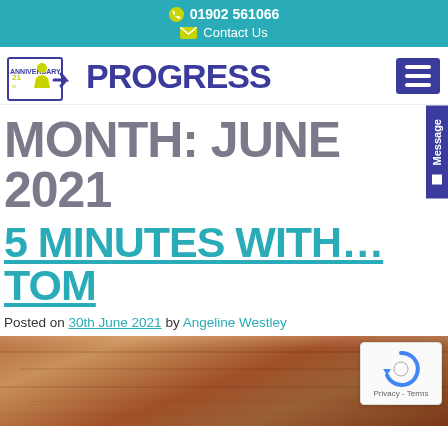01902 561066 | Contact Us
[Figure (logo): Progress 21st Anniversary logo with arrow icon and PROGRESS text in blue]
MONTH: JUNE 2021
5 MINUTES WITH...TOM
Posted on 30th June 2021 by Angeline Westley
[Figure (photo): Brown wooden table surface texture photo, bottom portion of page]